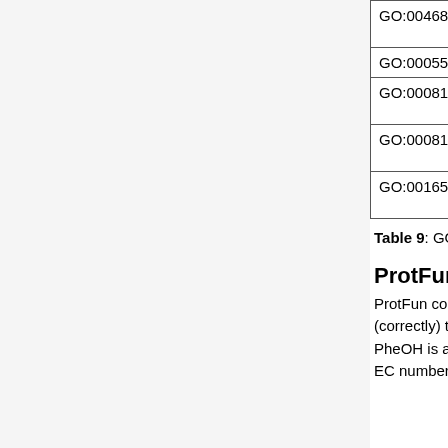| GO term | Aspect | Score | Description |
| --- | --- | --- | --- |
| GO:0046872 | F | 78% | metal ion binding |
| GO:0005506 | F | 78% | iron ion binding |
| GO:0008199 | F | 72% | ferric iron binding |
| GO:0008198 | F | 72% | ferrous iron binding |
| GO:0016597 | F | 71% | amino acid binding |
Table 9: GO term predictions for PheOH by GOPET.
ProtFun
ProtFun correctly reports, that PheOH is involved in the biosynthesis of amino acids. This is also (correctly) the only functional category with signifikant odds. ProtFun also correctly reports that PheOH is an enzyme, but fails to deduce the correct class. PheOH is an oxidoreductase with the EC number 1.14.16.1. The correct class has only the fourth highest odds of six possible classes.